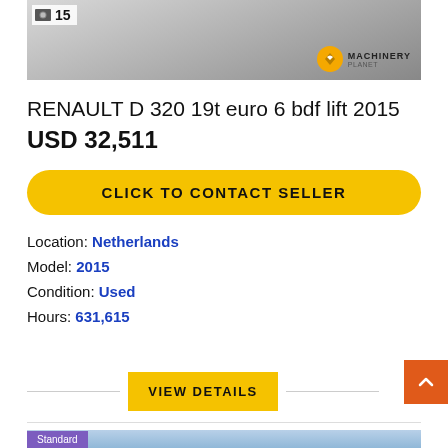[Figure (photo): Top portion of vehicle listing image showing a white truck/van, with a photo count badge showing image icon and '15', and Machinery Planet logo at bottom right]
RENAULT D 320 19t euro 6 bdf lift 2015
USD 32,511
CLICK TO CONTACT SELLER
Location: Netherlands
Model: 2015
Condition: Used
Hours: 631,615
VIEW DETAILS
[Figure (photo): Bottom portion of another vehicle listing with a 'Standard' badge in purple]